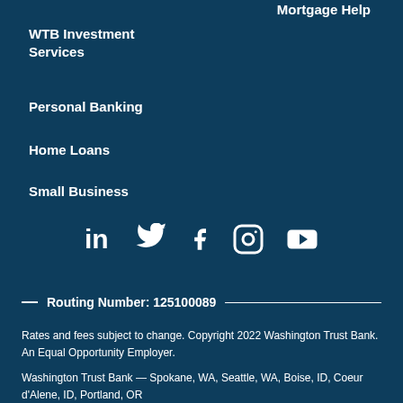Mortgage Help
WTB Investment Services
Personal Banking
Home Loans
Small Business
[Figure (infographic): Social media icons: LinkedIn, Twitter, Facebook, Instagram, YouTube]
— Routing Number: 125100089 —
Rates and fees subject to change. Copyright 2022 Washington Trust Bank. An Equal Opportunity Employer.
Washington Trust Bank — Spokane, WA, Seattle, WA, Boise, ID, Coeur d'Alene, ID, Portland, OR